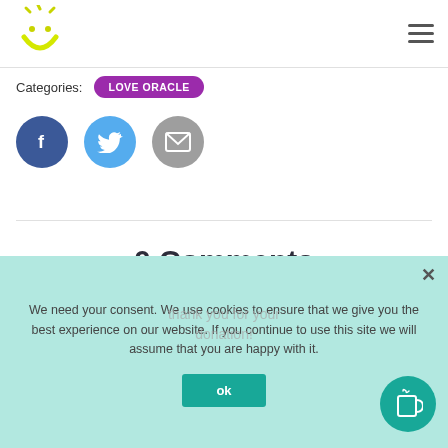Logo and navigation header
Categories: LOVE ORACLE
[Figure (illustration): Three social share buttons: Facebook (dark blue circle with f icon), Twitter (light blue circle with bird icon), Email (grey circle with envelope icon)]
0 Comments
We need your consent. We use cookies to ensure that we give you the best experience on our website. If you continue to use this site we will assume that you are happy with it.
ok